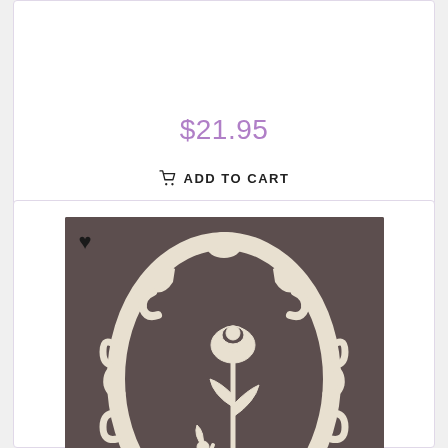$21.95
ADD TO CART
[Figure (photo): A white paper-cut style ornate oval frame with rose and flourish designs on a dark brown background. A single rose stem with leaves is centered inside the frame. A black heart icon overlays the top-left of the image.]
Ooh La La Collection Flourished Roses Set Dies